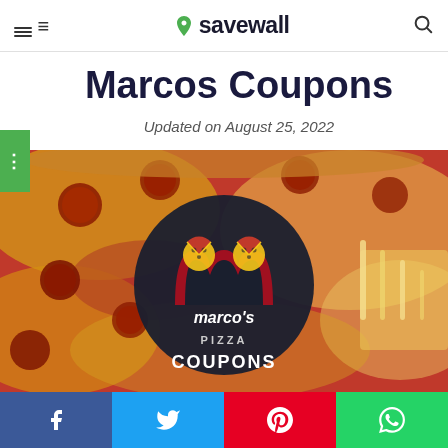savewall
Marcos Coupons
Updated on August 25, 2022
[Figure (photo): Marco's Pizza coupons promotional image showing a close-up pepperoni pizza with a dark circular logo overlay reading Marco's Pizza COUPONS]
Facebook, Twitter, Pinterest, WhatsApp share buttons